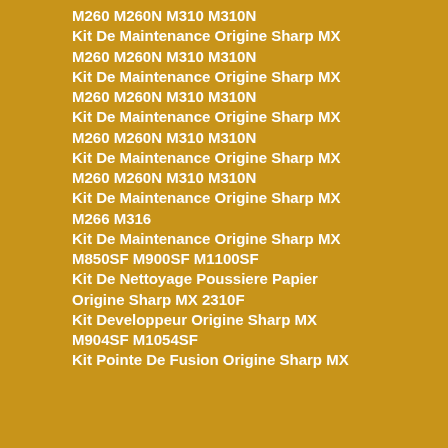M260 M260N M310 M310N
Kit De Maintenance Origine Sharp MX M260 M260N M310 M310N
Kit De Maintenance Origine Sharp MX M260 M260N M310 M310N
Kit De Maintenance Origine Sharp MX M260 M260N M310 M310N
Kit De Maintenance Origine Sharp MX M260 M260N M310 M310N
Kit De Maintenance Origine Sharp MX M266 M316
Kit De Maintenance Origine Sharp MX M850SF M900SF M1100SF
Kit De Nettoyage Poussiere Papier Origine Sharp MX 2310F
Kit Developpeur Origine Sharp MX M904SF M1054SF
Kit Pointe De Fusion Origine Sharp MX